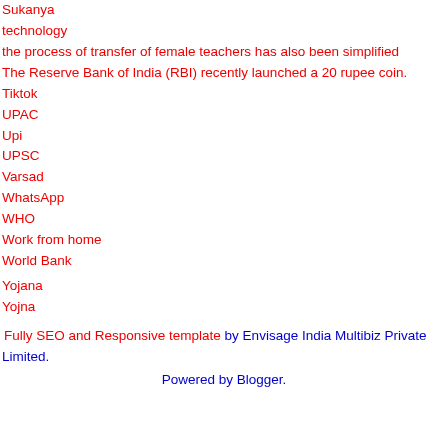Sukanya
technology
the process of transfer of female teachers has also been simplified
The Reserve Bank of India (RBI) recently launched a 20 rupee coin.
Tiktok
UPAC
Upi
UPSC
Varsad
WhatsApp
WHO
Work from home
World Bank
Yojana
Yojna
Fully SEO and Responsive template by Envisage India Multibiz Private Limited.
Powered by Blogger.